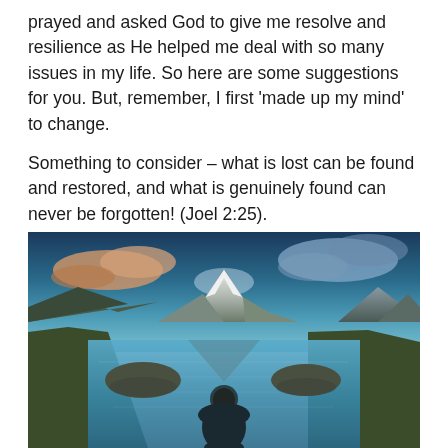prayed and asked God to give me resolve and resilience as He helped me deal with so many issues in my life. So here are some suggestions for you. But, remember, I first 'made up my mind' to change.
Something to consider – what is lost can be found and restored, and what is genuinely found can never be forgotten! (Joel 2:25).
[Figure (photo): A person seen from behind wearing a dark puffer jacket, standing at the edge of a reflective alpine lake, looking toward a snow-capped mountain in the distance. Dramatic sky with pink-orange clouds and deep blue tones. Rocky outcroppings visible in the water. Mountainous landscape.]